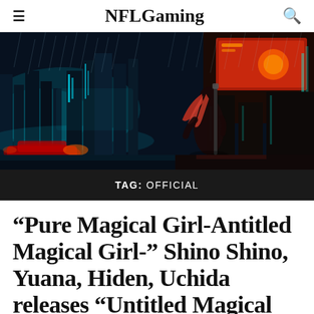NFLGaming
[Figure (illustration): Cyberpunk anime-style illustration showing a female warrior with red hair and a weapon standing in a rainy neon-lit futuristic city at night, with glowing city lights in teal and red tones, rain-soaked streets, and neon signs]
TAG: OFFICIAL
“Pure Magical Girl-Antitled Magical Girl-” Shino Shino, Yuana, Hiden, Uchida releases “Untitled Magical